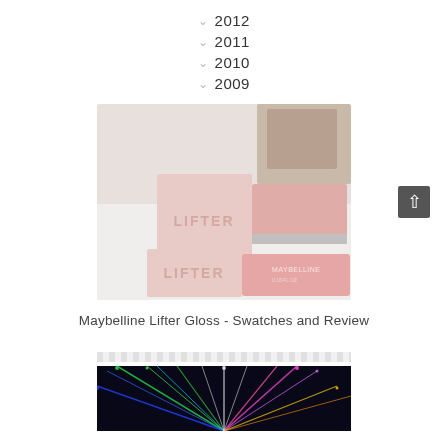2012
2011
2010
2009
[Figure (photo): Two Maybelline Lifter Gloss tubes with pink square caps and clear bodies, showing the gloss inside, placed on a white surface with a blurred background]
Maybelline Lifter Gloss - Swatches and Review
[Figure (photo): Colorful LED lights arranged in a star-burst or fiber optic pattern against a dark background, showing green, blue, pink, and white lights]